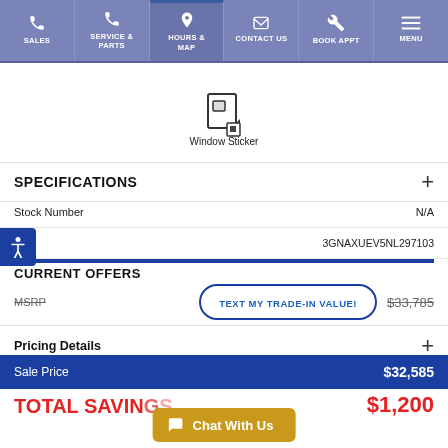SALES | SERVICE & PARTS | HOURS & MAP | CONTACT US | BOOK APPT | MENU
[Figure (illustration): Window sticker icon - a document/sticker icon]
Window Sticker
SPECIFICATIONS
| Field | Value |
| --- | --- |
| Stock Number | N/A |
| VIN | 3GNAXUEV5NL297103 |
CURRENT OFFERS
TEXT MY TRADE-IN VALUE!
MSRP $33,785
Pricing Details
Sale Price $32,585
Total Savings $1,200